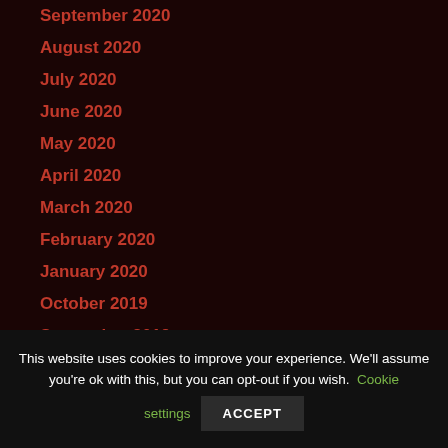September 2020
August 2020
July 2020
June 2020
May 2020
April 2020
March 2020
February 2020
January 2020
October 2019
September 2019
This website uses cookies to improve your experience. We'll assume you're ok with this, but you can opt-out if you wish. Cookie settings ACCEPT